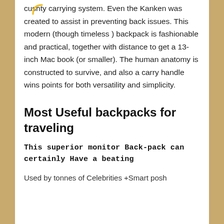cushty carrying system. Even the Kanken was created to assist in preventing back issues. This modern (though timeless ) backpack is fashionable and practical, together with distance to get a 13-inch Mac book (or smaller). The human anatomy is constructed to survive, and also a carry handle wins points for both versatility and simplicity.
Most Useful backpacks for traveling
This superior monitor Back-pack can certainly Have a beating
Used by tonnes of Celebrities +Smart posh